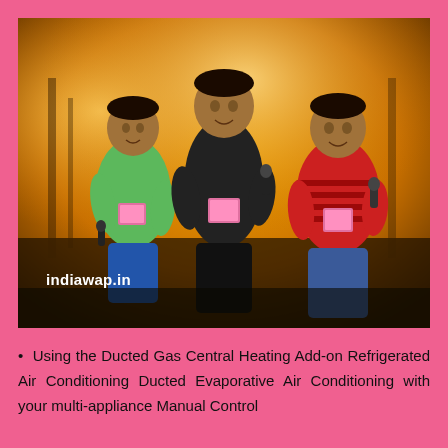[Figure (photo): Three children standing on a stage holding microphones, wearing pink ID badges. Background is a warm orange/yellow stage light. A watermark 'indiawap.in' is visible in the lower left of the image.]
Using the Ducted Gas Central Heating Add-on Refrigerated Air Conditioning Ducted Evaporative Air Conditioning with your multi-appliance Manual Control